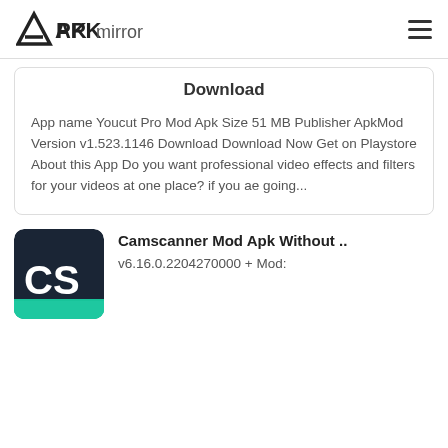APKmirror
Download
App name Youcut Pro Mod Apk Size 51 MB Publisher ApkMod Version v1.523.1146 Download Download Now Get on Playstore About this App Do you want professional video effects and filters for your videos at one place? if you ae going...
[Figure (logo): CamScanner app icon: dark navy background with 'CS' in large white letters and a teal green bar at the bottom]
Camscanner Mod Apk Without ..
v6.16.0.2204270000 + Mod: